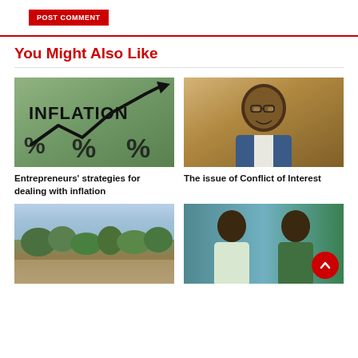[Figure (other): POST COMMENT red button]
You Might Also Like
[Figure (photo): Inflation chart image with percent signs and upward arrow]
[Figure (photo): Photo of a smiling man wearing glasses and a suit]
Entrepreneurs' strategies for dealing with inflation
The issue of Conflict of Interest
[Figure (photo): Landscape photo of shrubland]
[Figure (photo): Photo of two men side by side]